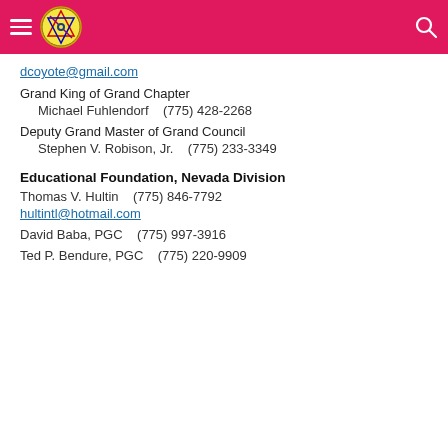Navigation header with logo and search
dcoyote@gmail.com
Grand King of Grand Chapter
Michael Fuhlendorf    (775) 428-2268
Deputy Grand Master of Grand Council
Stephen V. Robison, Jr.    (775) 233-3349
Educational Foundation, Nevada Division
Thomas V. Hultin    (775) 846-7792
hultintl@hotmail.com
David Baba, PGC    (775) 997-3916
Ted P. Bendure, PGC    (775) 220-9909